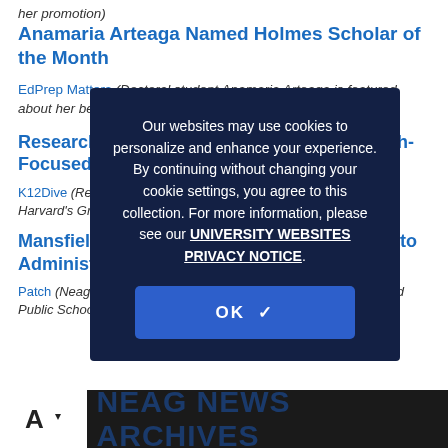her promotion)
Anamaria Arteaga Named Holmes Scholar of the Month
EdPrep Matters (Doctoral student Anamaria Arteaga is featured about her being recognized)
Research Highlights Positive Impacts of Math-Focused Student Teaching
K12Dive (Research led by Kathleen Lynch and academics from Harvard's Graduate School of Education is featured)
Mansfield Mom Candace Moreil Named CEO to Administer...
Patch (Neag School alumna Candace Morell was named Mansfield Public Schools' director of teaching and learning)
[Figure (screenshot): Cookie consent modal overlay with dark navy background. Text reads: 'Our websites may use cookies to personalize and enhance your experience. By continuing without changing your cookie settings, you agree to this collection. For more information, please see our UNIVERSITY WEBSITES PRIVACY NOTICE.' followed by an OK button.]
NEAG NEWS ARCHIVES